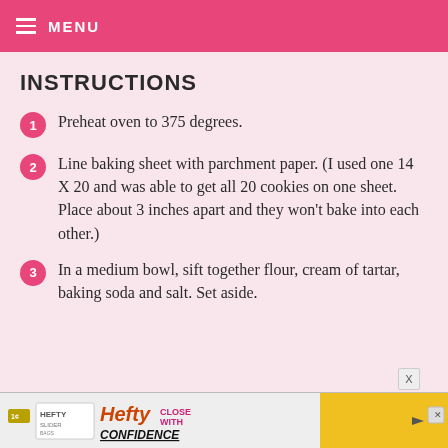≡ MENU
INSTRUCTIONS
Preheat oven to 375 degrees.
Line baking sheet with parchment paper. (I used one 14 X 20 and was able to get all 20 cookies on one sheet. Place about 3 inches apart and they won't bake into each other.)
In a medium bowl, sift together flour, cream of tartar, baking soda and salt. Set aside.
[Figure (screenshot): Hefty Slider advertisement banner at bottom of page]